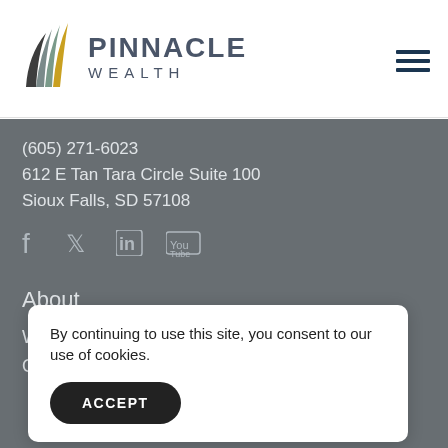[Figure (logo): Pinnacle Wealth logo with stylized multi-color fan/leaf shape and company name]
(605) 271-6023
612 E Tan Tara Circle Suite 100
Sioux Falls, SD 57108
[Figure (illustration): Social media icons: Facebook, Twitter, LinkedIn, YouTube]
About
W
O
By continuing to use this site, you consent to our use of cookies.